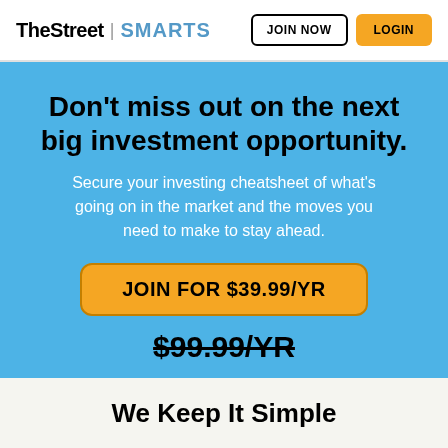TheStreet | SMARTS  JOIN NOW  LOGIN
Don't miss out on the next big investment opportunity.
Secure your investing cheatsheet of what's going on in the market and the moves you need to make to stay ahead.
JOIN FOR $39.99/YR
$99.99/YR
We Keep It Simple